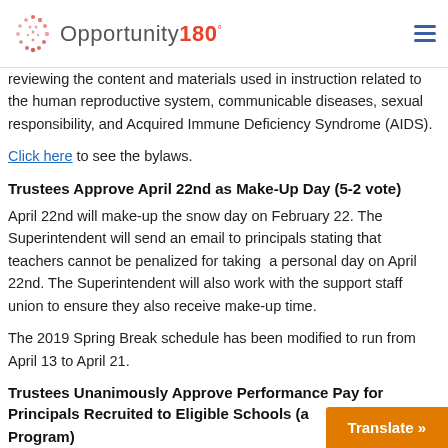Opportunity180°
reviewing the content and materials used in instruction related to the human reproductive system, communicable diseases, sexual responsibility, and Acquired Immune Deficiency Syndrome (AIDS).
Click here to see the bylaws.
Trustees Approve April 22nd as Make-Up Day (5-2 vote)
April 22nd will make-up the snow day on February 22. The Superintendent will send an email to principals stating that teachers cannot be penalized for taking  a personal day on April 22nd. The Superintendent will also work with the support staff union to ensure they also receive make-up time.
The 2019 Spring Break schedule has been modified to run from April 13 to April 21.
Trustees Unanimously Approve Performance Pay for Principals Recruited to Eligible Schools (a… Program)